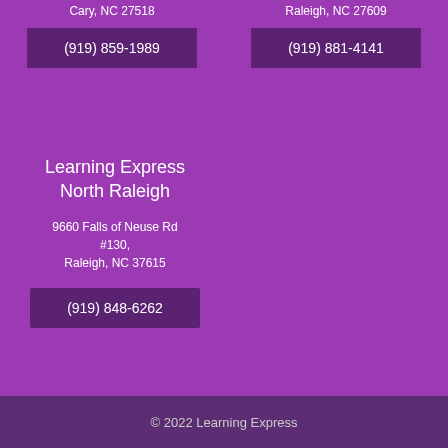Cary, NC 27518
(919) 859-1989
Raleigh, NC 27609
(919) 881-4141
Learning Express North Raleigh
9660 Falls of Neuse Rd #130,
Raleigh, NC 27615
(919) 848-6262
© 2022 Learning Express